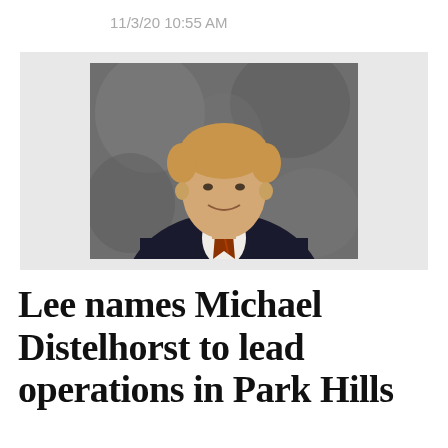11/3/20 10:55 AM
[Figure (photo): Professional headshot of Michael Distelhorst, a middle-aged man with light blonde hair, wearing a dark suit, white shirt, and orange-striped tie, photographed against a dark mottled background.]
Lee names Michael Distelhorst to lead operations in Park Hills